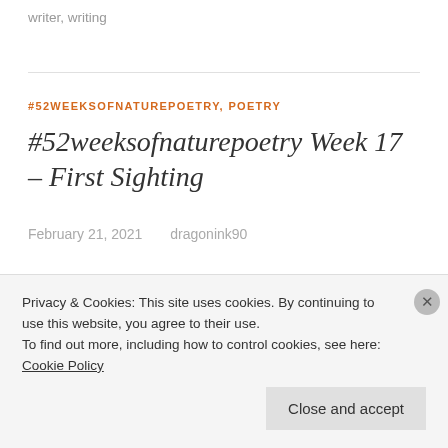writer, writing
#52WEEKSOFNATUREPOETRY, POETRY
#52weeksofnaturepoetry Week 17 – First Sighting
February 21, 2021   dragonink90
My cheeks are pink; the wind delights in pinching them as we push against it, determined
Privacy & Cookies: This site uses cookies. By continuing to use this website, you agree to their use.
To find out more, including how to control cookies, see here:
Cookie Policy
Close and accept